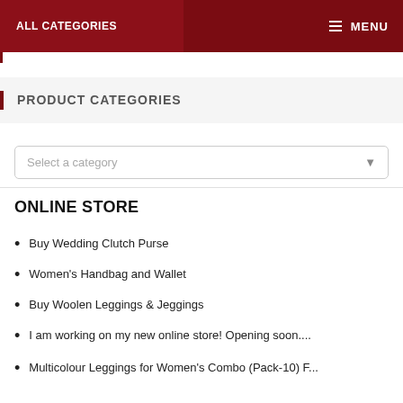ALL CATEGORIES | MENU
PRODUCT CATEGORIES
Select a category
ONLINE STORE
Buy Wedding Clutch Purse
Women's Handbag and Wallet
Buy Woolen Leggings & Jeggings
I am working on my new online store! Opening soon....
Multicolour Leggings for Women's Combo (Pack-10) F...